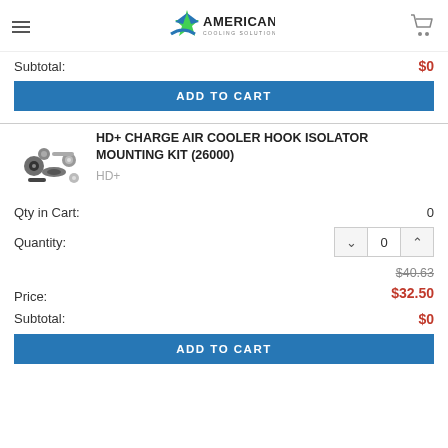American Cooling Solutions
Subtotal: $0
ADD TO CART
HD+ CHARGE AIR COOLER HOOK ISOLATOR MOUNTING KIT (26000)
HD+
Qty in Cart: 0
Quantity: 0
Price: $40.63 $32.50
Subtotal: $0
ADD TO CART